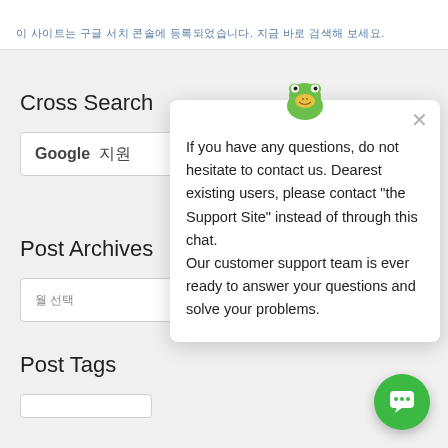이 사이트는 구글 서치 콘솔에 등록되었습니다. 지금 바로 검색해 보세요.
Cross Search
Google 지원
Post Archives
월 선택
[Figure (screenshot): Chat popup with green frog mascot logo, close button, and support message text. Message reads: If you have any questions, do not hesitate to contact us. Dearest existing users, please contact the Support Site instead of through this chat. Our customer support team is ever ready to answer your questions and solve your problems.]
Post Tags
[Figure (illustration): Green circular chat button with white speech bubble icon at bottom right of page]